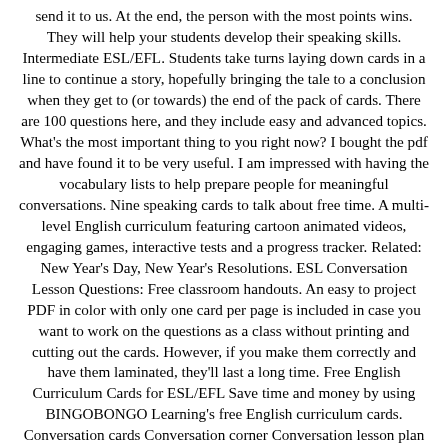send it to us. At the end, the person with the most points wins. They will help your students develop their speaking skills. Intermediate ESL/EFL. Students take turns laying down cards in a line to continue a story, hopefully bringing the tale to a conclusion when they get to (or towards) the end of the pack of cards. There are 100 questions here, and they include easy and advanced topics. What's the most important thing to you right now? I bought the pdf and have found it to be very useful. I am impressed with having the vocabulary lists to help prepare people for meaningful conversations. Nine speaking cards to talk about free time. A multi-level English curriculum featuring cartoon animated videos, engaging games, interactive tests and a progress tracker. Related: New Year's Day, New Year's Resolutions. ESL Conversation Lesson Questions: Free classroom handouts. An easy to project PDF in color with only one card per page is included in case you want to work on the questions as a class without printing and cutting out the cards. However, if you make them correctly and have them laminated, they'll last a long time. Free English Curriculum Cards for ESL/EFL Save time and money by using BINGOBONGO Learning's free English curriculum cards. Conversation cards Conversation corner Conversation lesson plan Conversation starters Guided conversation Shopping conversation Telephone conversation English Lessons for Kids - Videos, Printables, Games, Online Tests Teach kids with an engaging blended English program. You can pace the activity by giving a